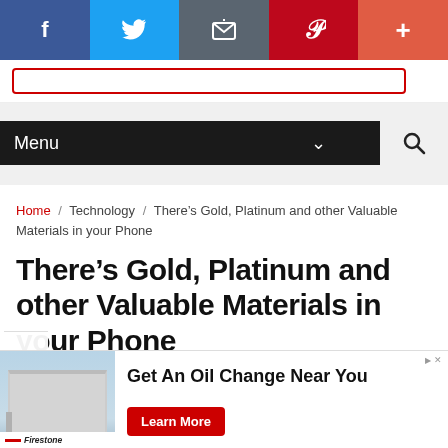[Figure (screenshot): Social media share bar with Facebook (blue), Twitter (light blue), Email (gray), Pinterest (red), and Plus (orange-red) buttons]
[Figure (screenshot): Navigation menu bar with dark background showing 'Menu' text, chevron dropdown, and search icon]
Home / Technology / There’s Gold, Platinum and other Valuable Materials in your Phone
There’s Gold, Platinum and other Valuable Materials in your Phone
[Figure (screenshot): Advertisement banner for Firestone oil change service with building photo, 'Get An Oil Change Near You' text, and 'Learn More' red button]